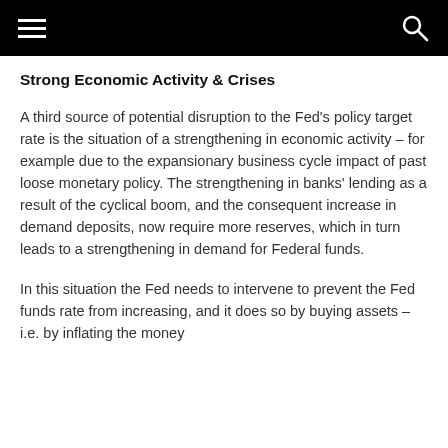≡  🔍
Strong Economic Activity & Crises
A third source of potential disruption to the Fed's policy target rate is the situation of a strengthening in economic activity – for example due to the expansionary business cycle impact of past loose monetary policy. The strengthening in banks' lending as a result of the cyclical boom, and the consequent increase in demand deposits, now require more reserves, which in turn leads to a strengthening in demand for Federal funds.
In this situation the Fed needs to intervene to prevent the Fed funds rate from increasing, and it does so by buying assets – i.e. by inflating the money